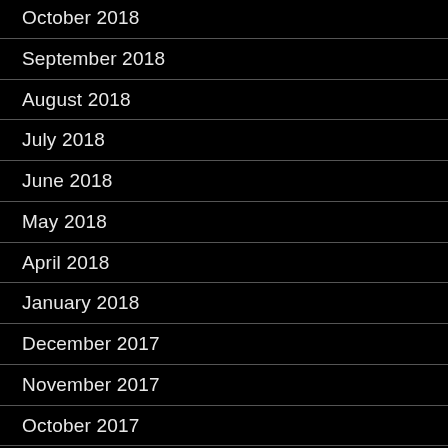October 2018
September 2018
August 2018
July 2018
June 2018
May 2018
April 2018
January 2018
December 2017
November 2017
October 2017
July 2017
June 2017